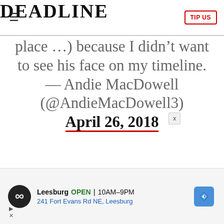DEADLINE | TIP US
place …) because I didn’t want to see his face on my timeline. — Andie MacDowell (@AndieMacDowell3) April 26, 2018
[Figure (screenshot): Advertisement for Leesburg store: logo, OPEN, 10AM-9PM, 241 Fort Evans Rd NE, Leesburg, with navigation icon]